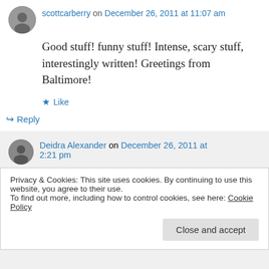[Figure (photo): Small circular avatar photo of scottcarberry, grayscale portrait]
scottcarberry on December 26, 2011 at 11:07 am
Good stuff! funny stuff! Intense, scary stuff, interestingly written! Greetings from Baltimore!
★ Like
↪ Reply
[Figure (photo): Small circular avatar photo of Deidra Alexander, female portrait]
Deidra Alexander on December 26, 2011 at 2:21 pm
Glad you like it. I have plans for at least
Privacy & Cookies: This site uses cookies. By continuing to use this website, you agree to their use.
To find out more, including how to control cookies, see here: Cookie Policy
Close and accept